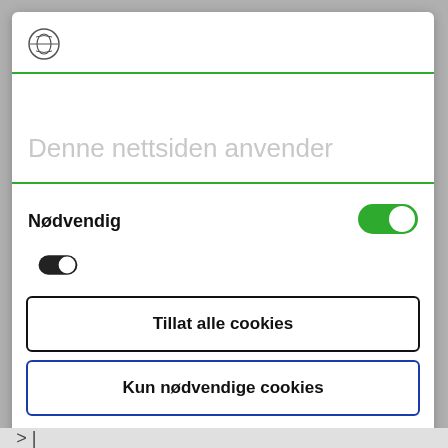[Figure (logo): Small circular logo/icon in header area]
Denne nettsiden anvender
Nødvendig
[Figure (other): Green toggle switch in ON position]
[Figure (other): Partially visible dark toggle/button at bottom of preferences section]
Tillat alle cookies
Kun nødvendige cookies
Powered by Cookiebot by Usercentrics